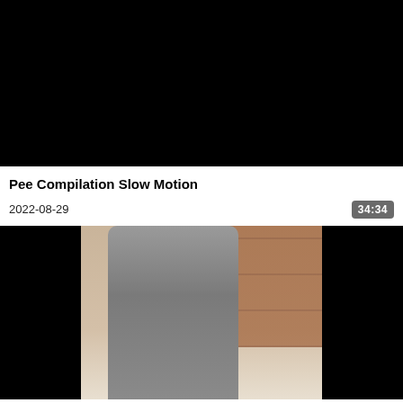[Figure (screenshot): Black video thumbnail (blank/dark frame)]
Pee Compilation Slow Motion
2022-08-29
34:34
[Figure (screenshot): Video thumbnail showing person in gray shorts standing in a bathroom with brown tile walls]